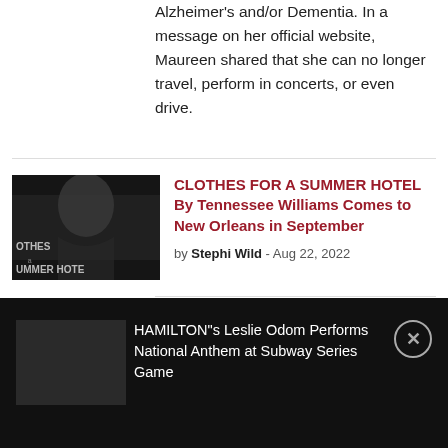Alzheimer's and/or Dementia. In a message on her official website, Maureen shared that she can no longer travel, perform in concerts, or even drive.
[Figure (photo): Dark, moody black and white image with partial text overlay reading 'OTHES... UMMER HOTE' (Clothes for a Summer Hotel)]
CLOTHES FOR A SUMMER HOTEL By Tennessee Williams Comes to New Orleans in September
by Stephi Wild - Aug 22, 2022
HAMILTON"s Leslie Odom Performs National Anthem at Subway Series Game